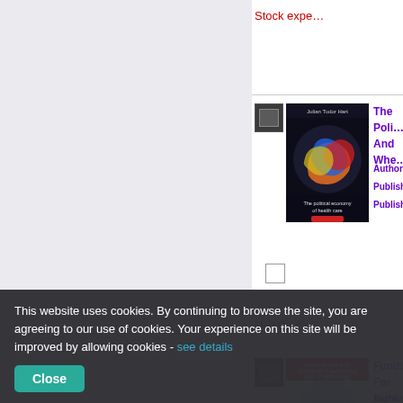Stock expe...
[Figure (screenshot): Book cover: The political economy of health care by Julian Tudor Hart, dark background with colorful hands]
The Poli... And Whe...
Author: Tu...
Publisher: ...
Published: ...
Usually dis...
[Figure (screenshot): Book cover: Fundamentals of Children's Anatomy and Physiology, red and teal cover]
Fundame... For Nurs...
Author: Do...
This website uses cookies. By continuing to browse the site, you are agreeing to our use of cookies. Your experience on this site will be improved by allowing cookies - see details
Close